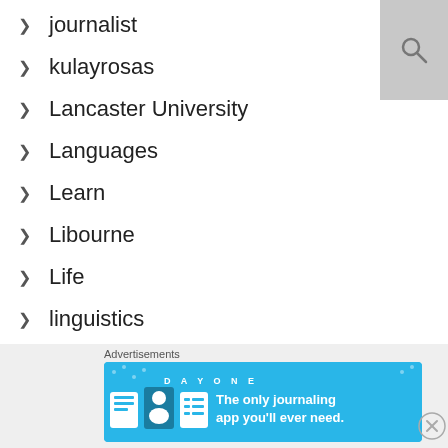> journalist
> kulayrosas
> Lancaster University
> Languages
> Learn
> Libourne
> Life
> linguistics
> love
> Malaysia
Advertisements
[Figure (screenshot): DAY ONE app advertisement banner — The only journaling app you'll ever need.]